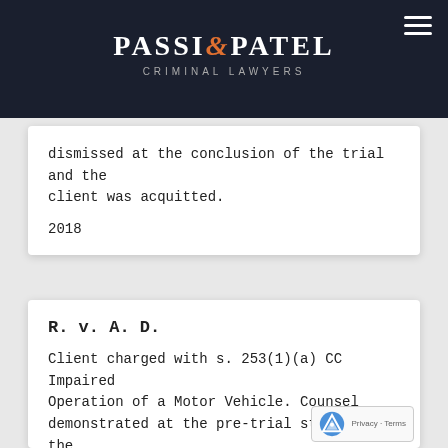[Figure (logo): Passi & Patel Criminal Lawyers logo on dark navy background with hamburger menu icon]
dismissed at the conclusion of the trial and the client was acquitted.
2018
R. v. A. D.
Client charged with s. 253(1)(a) CC Impaired Operation of a Motor Vehicle. Counsel demonstrated at the pre-trial stage that the client did not exhibit signs of impairment, and that the client's ss. 8, 9, 10(a) and 10(b)